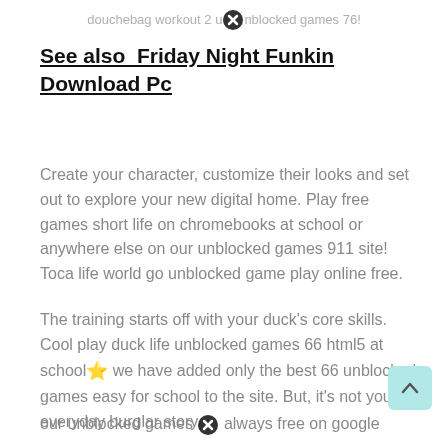douchebag workout 2 unblocked games 76!
See also  Friday Night Funkin Download Pc
Create your character, customize their looks and set out to explore your new digital home. Play free games short life on chromebooks at school or anywhere else on our unblocked games 911 site! Toca life world go unblocked game play online free.
The training starts off with your duck's core skills. Cool play duck life unblocked games 66 html5 at school⭐ we have added only the best 66 unblocked games easy for school to the site. But, it's not your everyday burglar story.
our unblocked games are always free on google